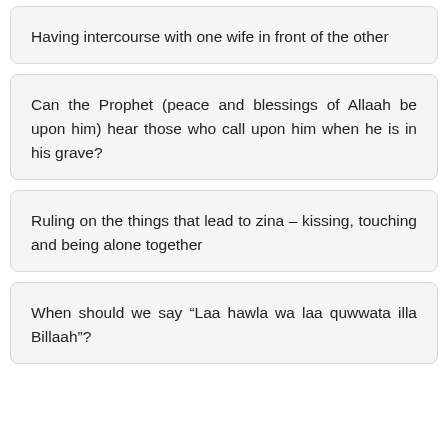Having intercourse with one wife in front of the other
Can the Prophet (peace and blessings of Allaah be upon him) hear those who call upon him when he is in his grave?
Ruling on the things that lead to zina – kissing, touching and being alone together
When should we say “Laa hawla wa laa quwwata illa Billaah”?